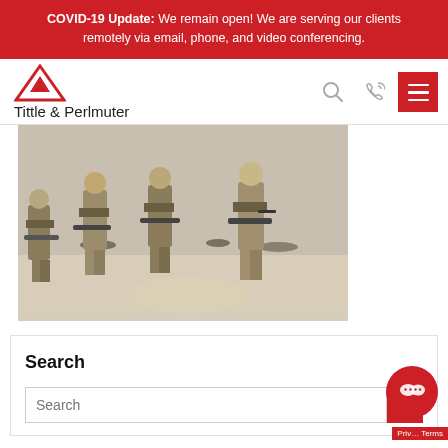COVID-19 Update: We remain open! We are serving our clients remotely via email, phone, and video conferencing.
[Figure (logo): Tittle & Perlmuter law firm logo with red triangle icon and firm name]
[Figure (photo): Military soldiers running across a sandy terrain carrying rifles, in desert combat gear]
Search
Search